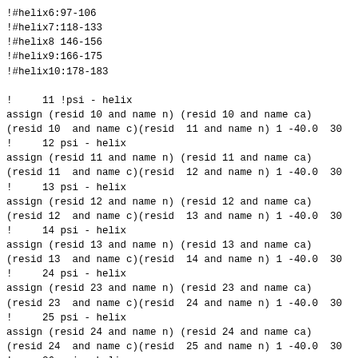!#helix6:97-106
!#helix7:118-133
!#helix8 146-156
!#helix9:166-175
!#helix10:178-183

!     11 !psi - helix
assign (resid 10 and name n) (resid 10 and name ca)
(resid 10  and name c)(resid  11 and name n) 1 -40.0  30
!     12 psi - helix
assign (resid 11 and name n) (resid 11 and name ca)
(resid 11  and name c)(resid  12 and name n) 1 -40.0  30
!     13 psi - helix
assign (resid 12 and name n) (resid 12 and name ca)
(resid 12  and name c)(resid  13 and name n) 1 -40.0  30
!     14 psi - helix
assign (resid 13 and name n) (resid 13 and name ca)
(resid 13  and name c)(resid  14 and name n) 1 -40.0  30
!     24 psi - helix
assign (resid 23 and name n) (resid 23 and name ca)
(resid 23  and name c)(resid  24 and name n) 1 -40.0  30
!     25 psi - helix
assign (resid 24 and name n) (resid 24 and name ca)
(resid 24  and name c)(resid  25 and name n) 1 -40.0  30
!     26 psi - helix
assign (resid 25 and name n) (resid 25 and name ca)
(resid 25  and name c)(resid  26 and name n) 1 -40.0  30
!     27 psi - helix
assign (resid 26 and name n) (resid 26 and name ca)
(resid 26  and name c)(resid  27 and name n) 1 -40.0  30